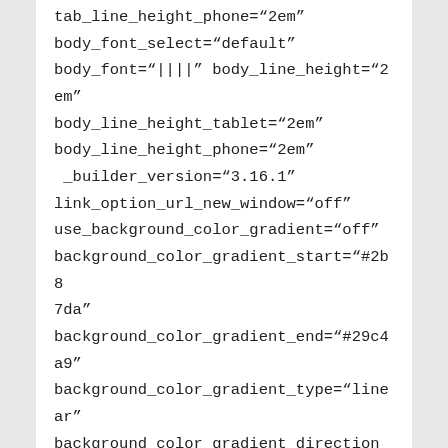tab_line_height_phone="2em" body_font_select="default" body_font="||||" body_line_height="2em" body_line_height_tablet="2em" body_line_height_phone="2em" _builder_version="3.16.1" link_option_url_new_window="off" use_background_color_gradient="off" background_color_gradient_start="#2b87da" background_color_gradient_end="#29c4a9" background_color_gradient_type="linear" background_color_gradient_direction="180deg"